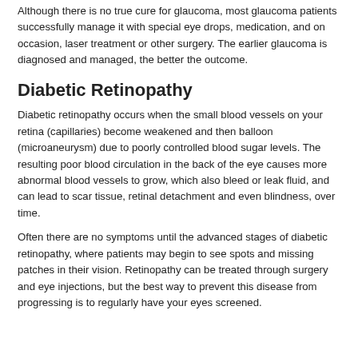Although there is no true cure for glaucoma, most glaucoma patients successfully manage it with special eye drops, medication, and on occasion, laser treatment or other surgery. The earlier glaucoma is diagnosed and managed, the better the outcome.
Diabetic Retinopathy
Diabetic retinopathy occurs when the small blood vessels on your retina (capillaries) become weakened and then balloon (microaneurysm) due to poorly controlled blood sugar levels. The resulting poor blood circulation in the back of the eye causes more abnormal blood vessels to grow, which also bleed or leak fluid, and can lead to scar tissue, retinal detachment and even blindness, over time.
Often there are no symptoms until the advanced stages of diabetic retinopathy, where patients may begin to see spots and missing patches in their vision. Retinopathy can be treated through surgery and eye injections, but the best way to prevent this disease from progressing is to regularly have your eyes screened.